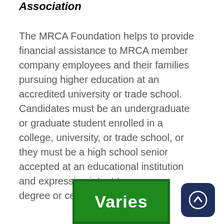Association
The MRCA Foundation helps to provide financial assistance to MRCA member company employees and their families pursuing higher education at an accredited university or trade school. Candidates must be an undergraduate or graduate student enrolled in a college, university, or trade school, or they must be a high school senior accepted at an educational institution and expressing intent to pursue a degree or certified trade program.
[Figure (infographic): Green box labeled 'Varies' indicating the scholarship amount varies]
[Figure (other): Dark navy blue rounded square button with an upward arrow icon]